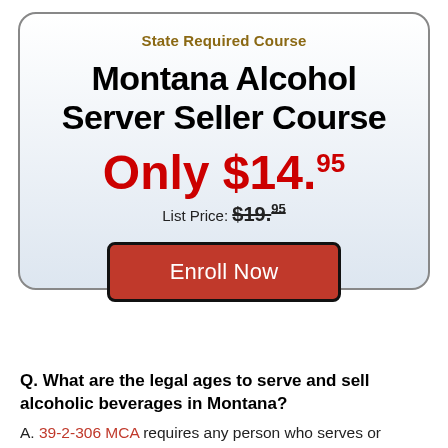State Required Course
Montana Alcohol Server Seller Course
Only $14.95
List Price: $19.95
[Figure (other): Red 'Enroll Now' button with black border]
Q. What are the legal ages to serve and sell alcoholic beverages in Montana?
A. 39-2-306 MCA requires any person who serves or